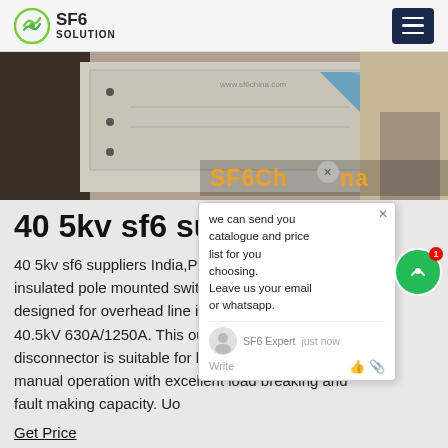SF6 SOLUTION
[Figure (photo): Industrial electrical switchgear equipment photo with SF6China text overlay]
40 5kv sf6 suppliers India u
40 5kv sf6 suppliers India,PLS. PLS- insulated pole mounted switch designed for overhead line installation 40.5kV 630A/1250A. This outdoor switch disconnector is suitable for both remote control and manual operation with excellent load breaking and fault making capacity. Uo
Get Price